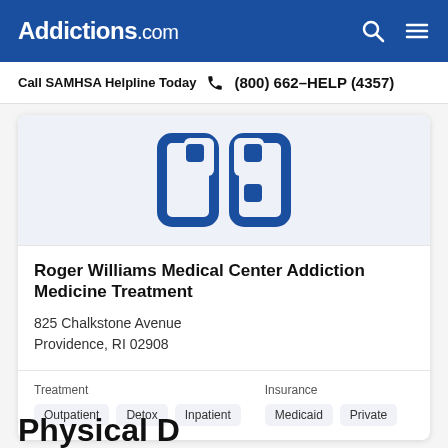Addictions.com
Call SAMHSA Helpline Today  (800) 662-HELP (4357)
[Figure (logo): Addictions.com hospital/facility logo mark in dark blue on light blue background]
Roger Williams Medical Center Addiction Medicine Treatment
825 Chalkstone Avenue
Providence, RI 02908
Treatment: Outpatient  Detox  Inpatient
Insurance: Medicaid  Private
Phy...ical D...